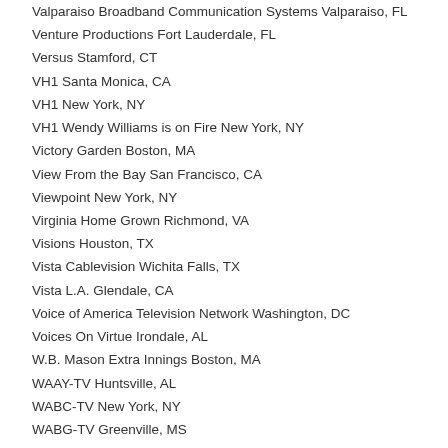Valparaiso Broadband Communication Systems Valparaiso, FL
Venture Productions Fort Lauderdale, FL
Versus Stamford, CT
VH1 Santa Monica, CA
VH1 New York, NY
VH1 Wendy Williams is on Fire New York, NY
Victory Garden Boston, MA
View From the Bay San Francisco, CA
Viewpoint New York, NY
Virginia Home Grown Richmond, VA
Visions Houston, TX
Vista Cablevision Wichita Falls, TX
Vista L.A. Glendale, CA
Voice of America Television Network Washington, DC
Voices On Virtue Irondale, AL
W.B. Mason Extra Innings Boston, MA
WAAY-TV Huntsville, AL
WABC-TV New York, NY
WABG-TV Greenville, MS
WABI-TV Bangor, ME
WABM-TV Birmingham, AL
WABW-TV Pelham, GA
WACH-TV Columbia, SC
Waco Cablevision Waco, TX
WACX-TV Altamonte Springs, FL